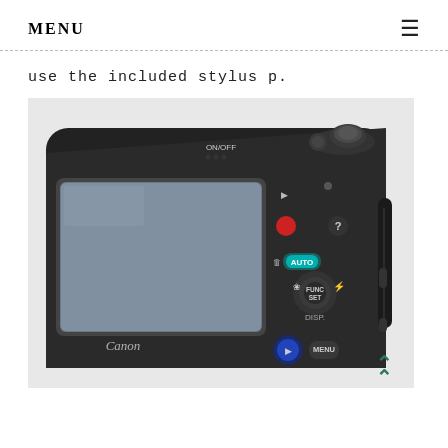MENU
use the included stylus p.
[Figure (photo): Rear view of a Canon compact digital camera showing the LCD screen, control buttons including ON/OFF, FUNC SET, MENU, DISP, AUTO mode dial, record button, playback button, and help button.]